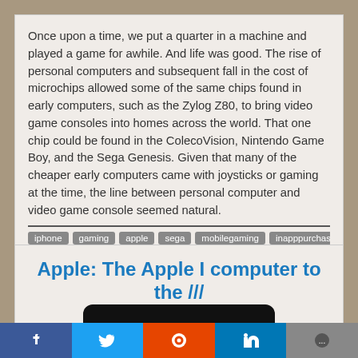Once upon a time, we put a quarter in a machine and played a game for awhile. And life was good. The rise of personal computers and subsequent fall in the cost of microchips allowed some of the same chips found in early computers, such as the Zylog Z80, to bring video game consoles into homes across the world. That one chip could be found in the ColecoVision, Nintendo Game Boy, and the Sega Genesis. Given that many of the cheaper early computers came with joysticks or gaming at the time, the line between personal computer and video game console seemed natural.
iphone
gaming
apple
sega
mobilegaming
inapppurchases
Apple: The Apple I computer to the ///
1/30/2021
[Figure (photo): Dark rounded rectangle image placeholder]